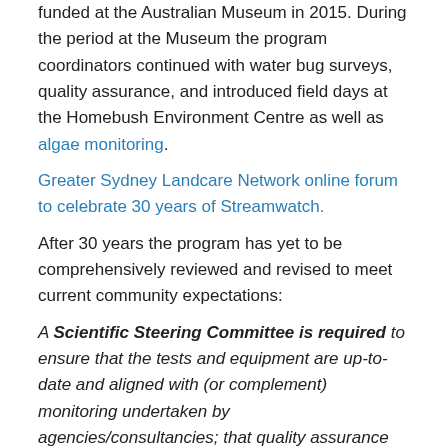funded at the Australian Museum in 2015. During the period at the Museum the program coordinators continued with water bug surveys, quality assurance, and introduced field days at the Homebush Environment Centre as well as algae monitoring.
Greater Sydney Landcare Network online forum to celebrate 30 years of Streamwatch.
After 30 years the program has yet to be comprehensively reviewed and revised to meet current community expectations:
A Scientific Steering Committee is required to ensure that the tests and equipment are up-to-date and aligned with (or complement) monitoring undertaken by agencies/consultancies; that quality assurance occurs; that the program can deliver results to key stakeholders